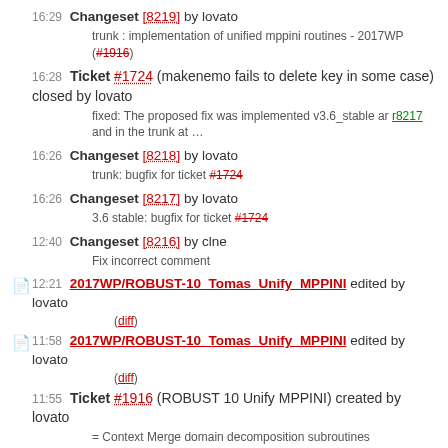16:29 Changeset [8219] by lovato — trunk : implementation of unified mppini routines - 2017WP (#1916)
16:28 Ticket #1724 (makenemo fails to delete key in some case) closed by lovato — fixed: The proposed fix was implemented v3.6_stable ar r8217 and in the trunk at …
16:26 Changeset [8218] by lovato — trunk: bugfix for ticket #1724
16:26 Changeset [8217] by lovato — 3.6 stable: bugfix for ticket #1724
12:40 Changeset [8216] by clne — Fix incorrect comment
12:21 2017WP/ROBUST-10_Tomas_Unify_MPPINI edited by lovato (diff)
11:58 2017WP/ROBUST-10_Tomas_Unify_MPPINI edited by lovato (diff)
11:55 Ticket #1916 (ROBUST 10 Unify MPPINI) created by lovato — = Context Merge domain decomposition subroutines (mppini.F90, …
2017-06-25:
12:26 Changeset [8215] by gm